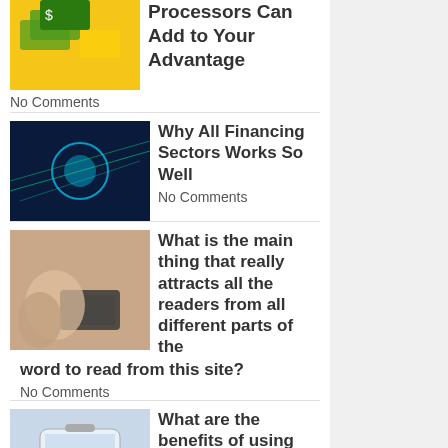Processors Can Add to Your Advantage
No Comments
Why All Financing Sectors Works So Well
No Comments
What is the main thing that really attracts all the readers from all different parts of the word to read from this site?
No Comments
What are the benefits of using reverse phone lookup?
No Comments
Gabriel Plotkin – The founder of Melvin Capital
No Comments